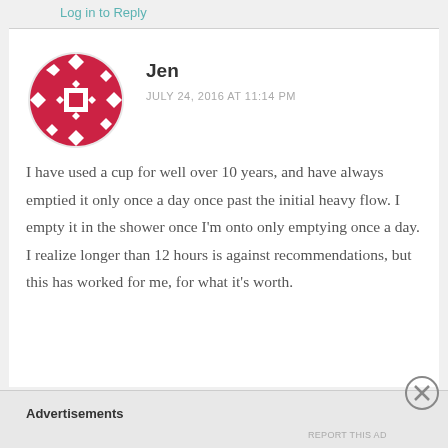Log in to Reply
[Figure (illustration): Red geometric patterned circular avatar icon for user Jen]
Jen
JULY 24, 2016 AT 11:14 PM
I have used a cup for well over 10 years, and have always emptied it only once a day once past the initial heavy flow. I empty it in the shower once I'm onto only emptying once a day. I realize longer than 12 hours is against recommendations, but this has worked for me, for what it's worth.
Advertisements